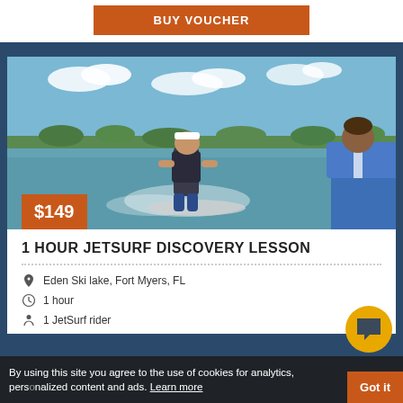BUY VOUCHER
[Figure (photo): A muscular man in a cap and life vest riding a JetSurf motorized surfboard on a lake, with a child in a blue life vest visible on the right watching from a boat. Green trees and blue sky in background.]
$149
1 HOUR JETSURF DISCOVERY LESSON
Eden Ski lake, Fort Myers, FL
1 hour
1 JetSurf rider
By using this site you agree to the use of cookies for analytics, personalized content and ads. Learn more
Got it